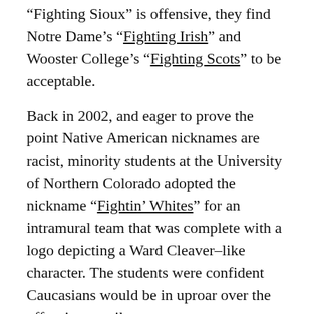“Fighting Sioux” is offensive, they find Notre Dame’s “Fighting Irish” and Wooster College’s “Fighting Scots” to be acceptable.
Back in 2002, and eager to prove the point Native American nicknames are racist, minority students at the University of Northern Colorado adopted the nickname “Fightin’ Whites” for an intramural team that was complete with a logo depicting a Ward Cleaver–like character. The students were confident Caucasians would be in uproar over the offensive moniker.
[play button] effort had the opposite effect. The logo and nickname were wildly popular with whites and a ...